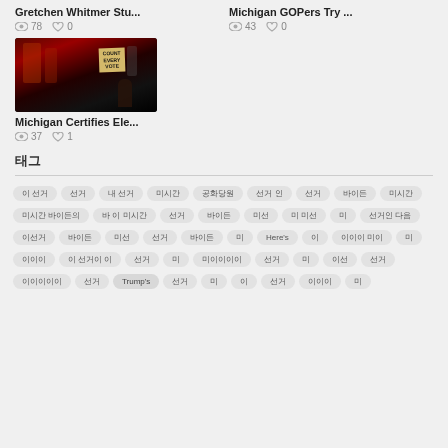Gretchen Whitmer Stu...
78 views, 0 likes
Michigan GOPers Try ...
43 views, 0 likes
[Figure (photo): Night cityscape with person holding a sign reading COUNT EVERY VOTE]
Michigan Certifies Ele...
37 views, 1 like
태그
이 선거
선거
내 선거
미시간
공화당원
선거 인
선거
바이든
미시간
미시간 바이든의
바 이 미시간
선거
바이든
미시간
미 미선
미
선거
이선거
바이든
미선
선거
바이든
미
선거인
선거
미선
미미미
선거
미
Here's
이
선거인 다음
미
이이이
이 선거이 이
선거
미
미이이이이
선거
미
이선
선거
이이이이이
선거
Trump's
선거
미
이
선거
이이이
미